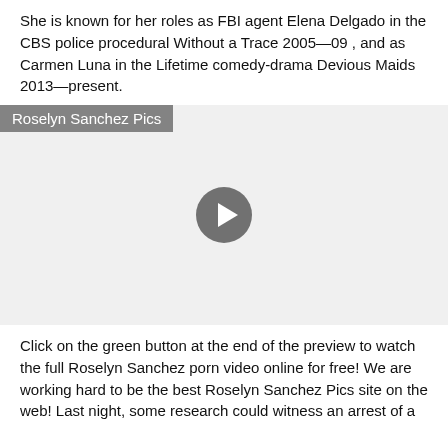She is known for her roles as FBI agent Elena Delgado in the CBS police procedural Without a Trace 2005—09 , and as Carmen Luna in the Lifetime comedy-drama Devious Maids 2013—present.
[Figure (screenshot): Video player area with gray background, a label overlay reading 'Roselyn Sanchez Pics', and a circular play button in the center.]
Click on the green button at the end of the preview to watch the full Roselyn Sanchez porn video online for free! We are working hard to be the best Roselyn Sanchez Pics site on the web! Last night, some research could witness an arrest of a